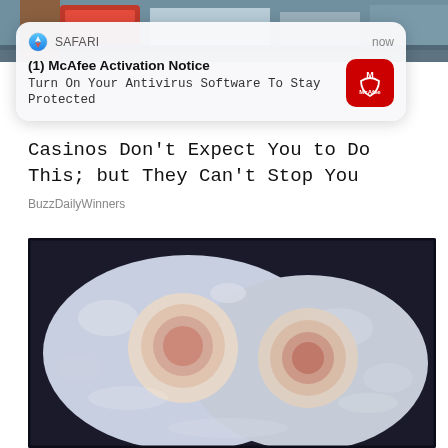[Figure (photo): Top strip of a photo showing a street scene with a red sign and building]
[Figure (screenshot): Safari browser notification card: (1) McAfee Activation Notice — Turn On Your Antivirus Software To Stay Protected, with McAfee red icon]
Casinos Don't Expect You to Do This; but They Can't Stop You
BuzzDailyWinners
[Figure (photo): Close-up photo of two fried eggs cooking in a pan, with white and orange/pink yolks visible]